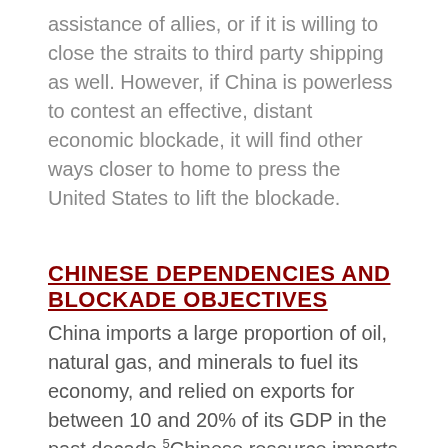assistance of allies, or if it is willing to close the straits to third party shipping as well. However, if China is powerless to contest an effective, distant economic blockade, it will find other ways closer to home to press the United States to lift the blockade.
CHINESE DEPENDENCIES AND BLOCKADE OBJECTIVES
China imports a large proportion of oil, natural gas, and minerals to fuel its economy, and relied on exports for between 10 and 20% of its GDP in the past decade.5Chinese resource imports from the Middle East—